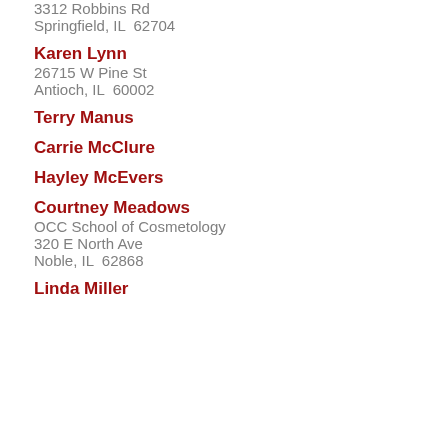3312 Robbins Rd
Springfield, IL  62704
Karen Lynn
26715 W Pine St
Antioch, IL  60002
Terry Manus
Carrie McClure
Hayley McEvers
Courtney Meadows
OCC School of Cosmetology
320 E North Ave
Noble, IL  62868
Linda Miller